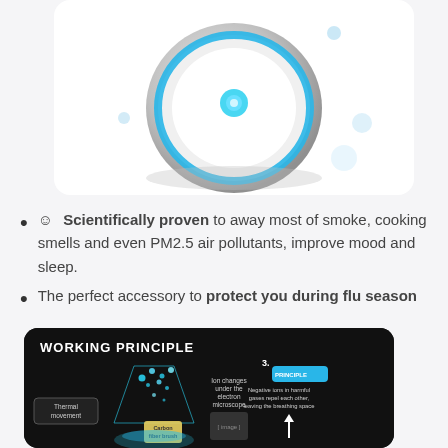[Figure (photo): White circular air purifier device with blue LED ring and blue glowing center dot, on white background with light blue decorative dots]
😊 Scientifically proven to away most of smoke, cooking smells and even PM2.5 air pollutants, improve mood and sleep.
The perfect accessory to protect you during flu season
[Figure (infographic): Working Principle diagram on black background showing carbon fiber brush, thermal movement, ion changes under electron microscope, and Principle 3 explaining negative ions in harmful gases repel each other leaving the breathing space]